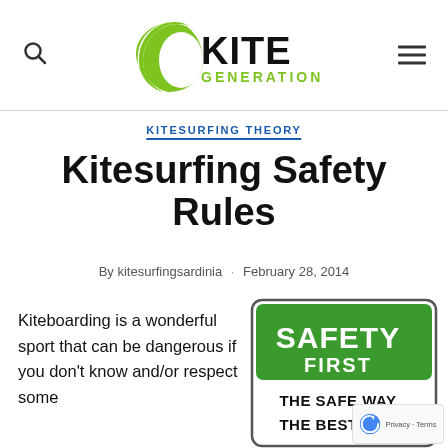Kite Generation (logo with search and menu icons)
KITESURFING THEORY
Kitesurfing Safety Rules
By kitesurfingsardinia · February 28, 2014
Kiteboarding is a wonderful sport that can be dangerous if you don't know and/or respect some
[Figure (photo): Safety First sign with text 'THE SAFE WAY THE BEST WAY']